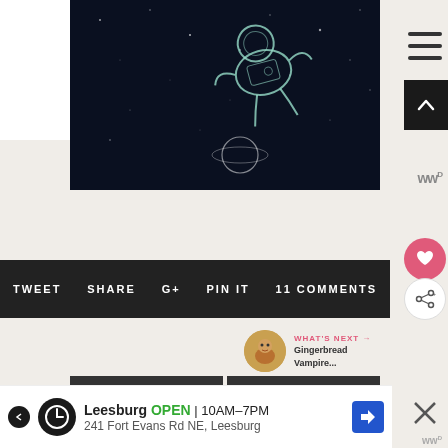[Figure (logo): The Kitchen is My Playground blog logo with cupcake decorations and pink text]
[Figure (illustration): Dark space scene with chalk-drawn floating astronaut and planet]
[Figure (infographic): Social sharing bar with TWEET, SHARE, G+, PIN IT, 11 COMMENTS buttons on dark background]
WHAT'S NEXT → Gingerbread Vampire...
PREVIOUS STORY
NEXT STORY
[Figure (infographic): Advertisement banner: Leesburg OPEN 10AM-7PM, 241 Fort Evans Rd NE, Leesburg]